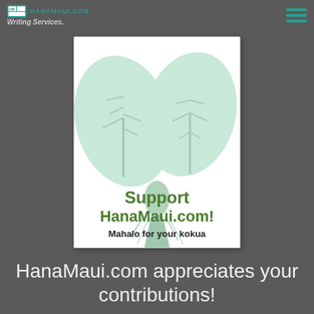HANAMAUI.COM — Writing Services.
[Figure (illustration): A white card with taro leaf illustration in light mint green. Text reads 'Support HanaMaui.com! Mahalo for your kokua']
HanaMaui.com appreciates your contributions!